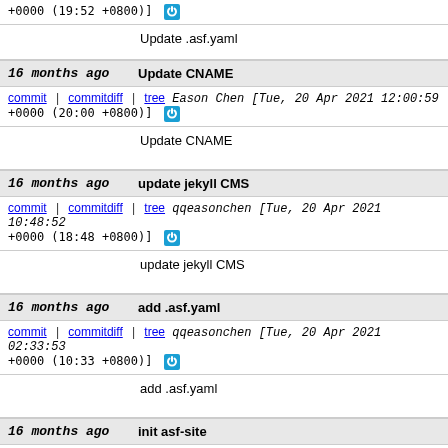+0000 (19:52 +0800)]
Update .asf.yaml
16 months ago   Update CNAME
commit | commitdiff | tree   Eason Chen [Tue, 20 Apr 2021 12:00:59 +0000 (20:00 +0800)]
Update CNAME
16 months ago   update jekyll CMS
commit | commitdiff | tree   qqeasonchen [Tue, 20 Apr 2021 10:48:52 +0000 (18:48 +0800)]
update jekyll CMS
16 months ago   add .asf.yaml
commit | commitdiff | tree   qqeasonchen [Tue, 20 Apr 2021 02:33:53 +0000 (10:33 +0800)]
add .asf.yaml
16 months ago   init asf-site